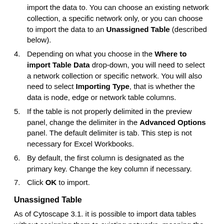import the data to. You can choose an existing network collection, a specific network only, or you can choose to import the data to an Unassigned Table (described below).
4. Depending on what you choose in the Where to import Table Data drop-down, you will need to select a network collection or specific network. You will also need to select Importing Type, that is whether the data is node, edge or network table columns.
5. If the table is not properly delimited in the preview panel, change the delimiter in the Advanced Options panel. The default delimiter is tab. This step is not necessary for Excel Workbooks.
6. By default, the first column is designated as the primary key. Change the key column if necessary.
7. Click OK to import.
Unassigned Table
As of Cytoscape 3.1. it is possible to import data tables without assigning them to existing networks, meaning the data doesn't have to correspond to any nodes/edges currently loaded. If a data table is imported as